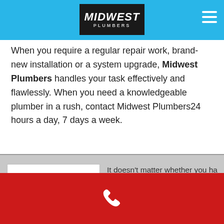[Figure (logo): Midwest Plumbers logo in black box with white italic text, on blue navigation bar with hamburger menu]
When you require a regular repair work, brand-new installation or a system upgrade, Midwest Plumbers handles your task effectively and flawlessly. When you need a knowledgeable plumber in a rush, contact Midwest Plumbers24 hours a day, 7 days a week.
Do Eufaula plumbers work 24 7?
It doesn't matter whether you ha... clogged up cooking area sink, or... specialists are readily available t... not know what the plumbing em... technician who knows how to m...
[Figure (screenshot): Red footer bar with white phone/call icon]